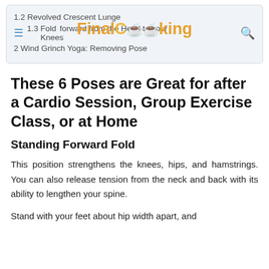FinalCooking
1.2  Revolved Crescent Lunge
1.3  Fold Forward from the Head to your Knees
2  Wind Grinch Yoga: Removing Pose
These 6 Poses are Great for after a Cardio Session, Group Exercise Class, or at Home
Standing Forward Fold
This position strengthens the knees, hips, and hamstrings. You can also release tension from the neck and back with its ability to lengthen your spine.
Stand with your feet about hip width apart, and